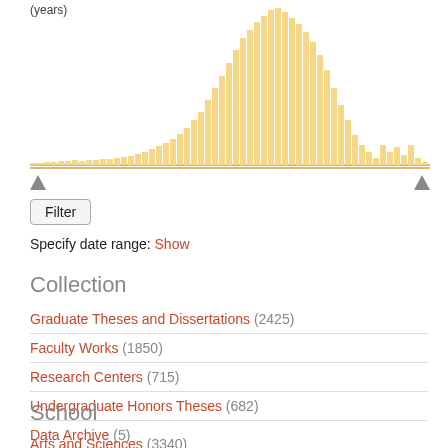[Figure (histogram): Years histogram]
Filter
Specify date range: Show
Collection
Graduate Theses and Dissertations (2425)
Faculty Works (1850)
Research Centers (715)
Undergraduate Honors Theses (682)
Data Archive (5)
School
Arts and Sciences (3340)